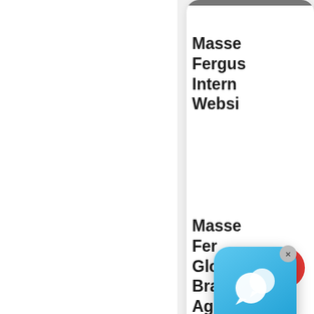[Figure (screenshot): Website sidebar showing article cards. First card shows text 'Massey Ferguson International Website'. Second card shows text 'Massey Ferguson Global Brand of Agricultural Machinery'. A chat bubble overlay icon is visible. A scroll-to-top red button is visible. Third card partially visible shows 'Muller Pinehurst' text.]
Massey Ferguson International Website
Massey Ferguson Global Brand of Agricultural Machinery
Muller Pinehurst